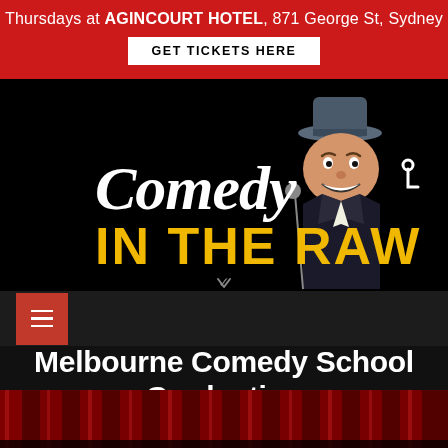Thursdays at AGINCOURT HOTEL, 871 George St, Sydney
GET TICKETS HERE
[Figure (logo): Comedy In The Raw logo with cartoon character figure wearing a fedora hat, white script text 'Comedy' and bold yellow text 'IN THE RAW' on black background]
Melbourne Comedy School Graduation Show Ticket
[Figure (photo): Red stage curtains at the bottom of the page]